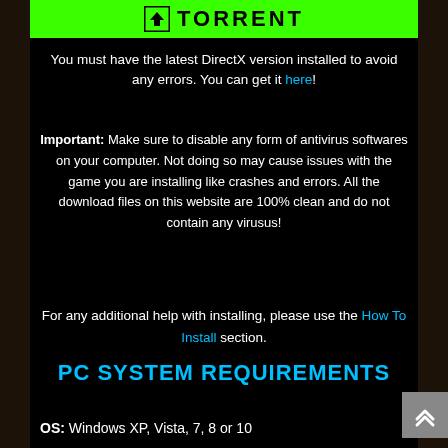[Figure (logo): Green banner with torrent logo icon and 'TORRENT' text in black on bright green background]
You must have the latest DirectX version installed to avoid any errors. You can get it here!
Important: Make sure to disable any form of antivirus softwares on your computer. Not doing so may cause issues with the game you are installing like crashes and errors. All the download files on this website are 100% clean and do not contain any virusus!
For any additional help with installing, please use the How To Install section.
PC SYSTEM REQUIREMENTS
OS: Windows XP, Vista, 7, 8 or 10